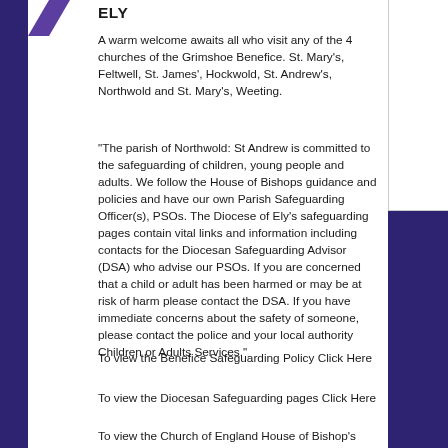ELY
A warm welcome awaits all who visit any of the 4 churches of the Grimshoe Benefice. St. Mary's, Feltwell, St. James', Hockwold, St. Andrew's, Northwold and St. Mary's, Weeting.
"The parish of Northwold: St Andrew is committed to the safeguarding of children, young people and adults. We follow the House of Bishops guidance and policies and have our own Parish Safeguarding Officer(s), PSOs. The Diocese of Ely's safeguarding pages contain vital links and information including contacts for the Diocesan Safeguarding Advisor (DSA) who advise our PSOs. If you are concerned that a child or adult has been harmed or may be at risk of harm please contact the DSA. If you have immediate concerns about the safety of someone, please contact the police and your local authority Children or Adults Services."
To view the Benefice Safeguarding Policy Click Here
To view the Diocesan Safeguarding pages Click Here
To view the Church of England House of Bishop's Safeguarding pages Click Here